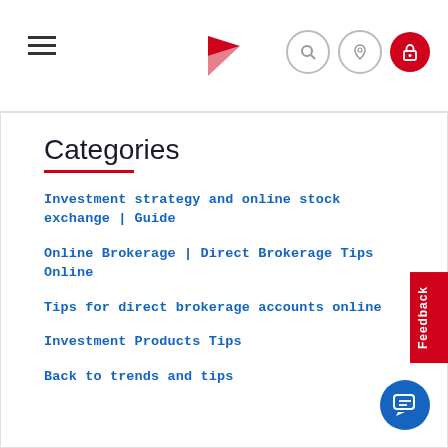Navigation header with hamburger menu, red flag logo, search, location, and lock icons
Categories
Investment strategy and online stock exchange | Guide
Online Brokerage | Direct Brokerage Tips Online
Tips for direct brokerage accounts online
Investment Products Tips
Back to trends and tips